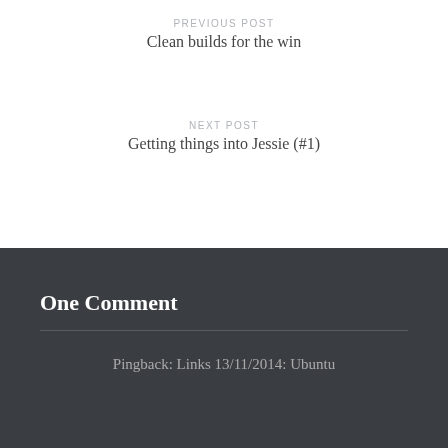PREVIOUS POST
Clean builds for the win
NEXT POST
Getting things into Jessie (#1)
One Comment
Pingback: Links 13/11/2014: Ubuntu